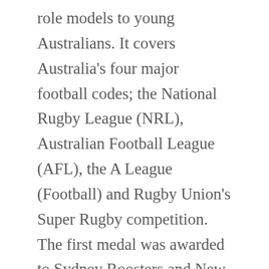role models to young Australians. It covers Australia's four major football codes; the National Rugby League (NRL), Australian Football League (AFL), the A League (Football) and Rugby Union's Super Rugby competition. The first medal was awarded to Sydney Roosters and New Zealand representative Shaun Kenny-Dowall in 2015.
The chief executive called for critics of the policy to consider the wider implications of illicit drug use among players, including the welfare of the individual players, the clubs and the code itself.
"This policy will protect the reputation of the AFL" he stated.